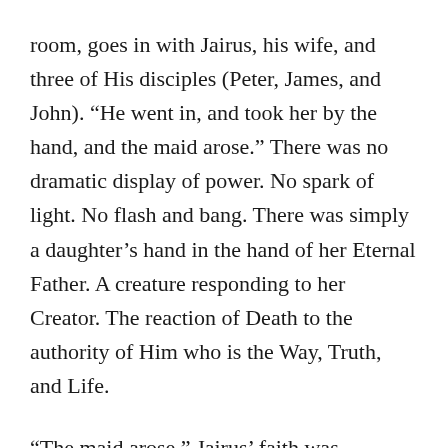room, goes in with Jairus, his wife, and three of His disciples (Peter, James, and John). “He went in, and took her by the hand, and the maid arose.” There was no dramatic display of power. No spark of light. No flash and bang. There was simply a daughter’s hand in the hand of her Eternal Father. A creature responding to her Creator. The reaction of Death to the authority of Him who is the Way, Truth, and Life.
“The maid arose.” Jairus’ faith was rewarded, and those who jeered at Jesus were put to shame. Scripture reports, and as one can imagine, “the fame hereof went abroad into all that land.”